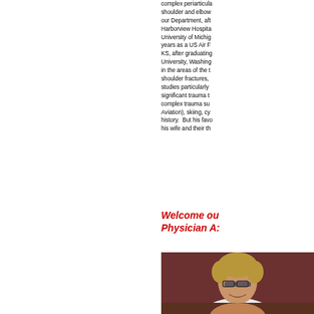complex periarticular shoulder and elbow our Department, after Harborview Hospital, University of Michigan years as a US Air Force KS, after graduating University, Washington in the areas of the trauma shoulder fractures, studies particularly significant trauma trauma complex trauma surgery Aviation), skiing, cycling history. But his favorite his wife and their three
Welcome our Physician As
[Figure (photo): Headshot of a woman with short blonde hair, glasses, smiling, wearing a white coat over an orange shirt, dark reddish-brown background]
[Figure (photo): Partial view of another person, dark brownish background, bottom of page]